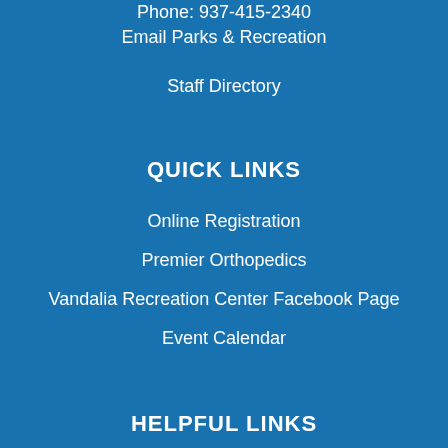Phone: 937-415-2340
Email Parks & Recreation
Staff Directory
QUICK LINKS
Online Registration
Premier Orthopedics
Vandalia Recreation Center Facebook Page
Event Calendar
HELPFUL LINKS
Home
Site Map